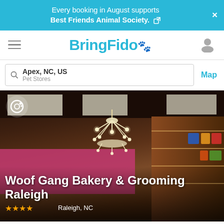Every booking in August supports Best Friends Animal Society.
BringFido
Apex, NC, US
Pet Stores
Map
[Figure (photo): Interior of Woof Gang Bakery & Grooming Raleigh store showing a large white chandelier, pink walls, product shelves, and people at the counter.]
Woof Gang Bakery & Grooming Raleigh
Raleigh, NC